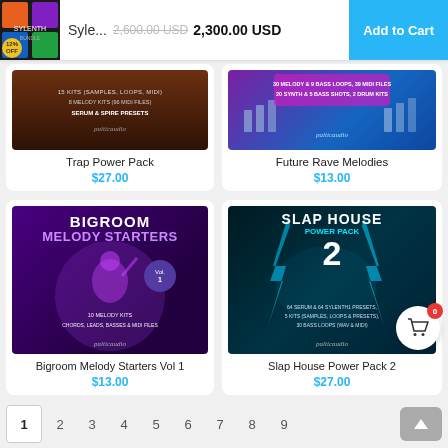Syle... 2,600.00 USD 2,300.00 USD  Add to Cart  12% OFF
[Figure (other): Trap Power Pack album art: dark brown background with text '15 KITS (SAMPLES, LOOPS, MIDI) 8 MELODY KITS (96 MIDI FILES) SERUM & SPIRE PRESETS' and 'palticaudio' logo]
Trap Power Pack
$27.00
[Figure (other): Future Rave Melodies album art: purple/blue background with text '30 MELODY & 9 BASS LOOPS, 39 MIDI FILES  20 SYNTH & 5 BASS SHOTS, 2 DRUM KITS' and 'palticaudio' logo]
Future Rave Melodies
$13.00
[Figure (other): Bigroom Melody Starters Vol 1 album art: purple background with DJ silhouette, text 'BIGROOM MELODY STARTERS Vol.1 10 MELODY KITS CHORDS, LEADS, BASSES & MIDI FILES' and 'palticaudio' logo]
Bigroom Melody Starters Vol 1
$13.00
[Figure (other): Slap House Power Pack 2 album art: dark teal background with lightning, text 'SLAP HOUSE POWER PACK 2  64 SERUM & 64 SYLENTH1 PRESETS, 5 KITS (SAMPLES, LOOPS & PRESETS), 30 BASS LOOPS (WAV & MIDI)' and 'palticaudio' logo]
Slap House Power Pack 2
$27.00
1  2  3  4  5  6  7  8  9